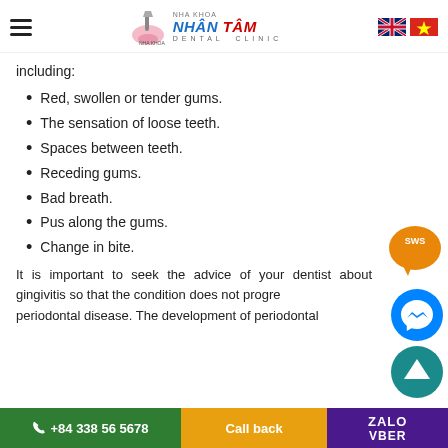Nha Khoa NHÂN TÂM Dental Clinic
including:
Red, swollen or tender gums.
The sensation of loose teeth.
Spaces between teeth.
Receding gums.
Bad breath.
Pus along the gums.
Change in bite.
It is important to seek the advice of your dentist about gingivitis so that the condition does not progress to periodontal disease. The development of periodontal
+84 338 56 5678 | Call back | ZALO | VBER